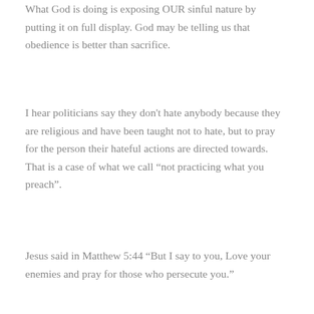What God is doing is exposing OUR sinful nature by putting it on full display. God may be telling us that obedience is better than sacrifice.
I hear politicians say they don't hate anybody because they are religious and have been taught not to hate, but to pray for the person their hateful actions are directed towards. That is a case of what we call “not practicing what you preach”.
Jesus said in Matthew 5:44 “But I say to you, Love your enemies and pray for those who persecute you.”